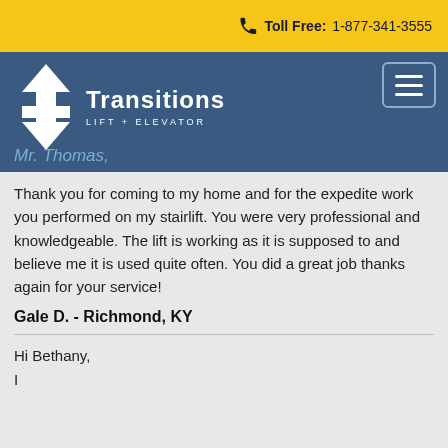Toll Free: 1-877-341-3555
[Figure (logo): Transitions Lift + Elevator logo with upward and downward arrows forming an H shape, white on blue background]
Mr. Thomas,
Thank you for coming to my home and for the expedite work you performed on my stairlift. You were very professional and knowledgeable. The lift is working as it is supposed to and believe me it is used quite often. You did a great job thanks again for your service!
Gale D. - Richmond, KY
Hi Bethany,